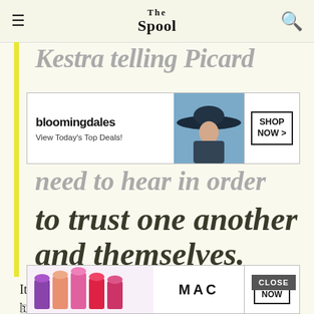The Spool
Kestra telling Picard
[Figure (other): Bloomingdale's advertisement banner: 'View Today's Top Deals!' with a woman in a large hat, and 'SHOP NOW >' button]
need to hear in order to trust one another and themselves.
It’s matched in the easy rapport between Jean Luc and his good old “Number One”. Despite the frustrating abruptness of Hugh a
[Figure (other): MAC cosmetics advertisement banner with lipsticks and 'SHOP NOW' button. CLOSE button overlay.]
Elno is